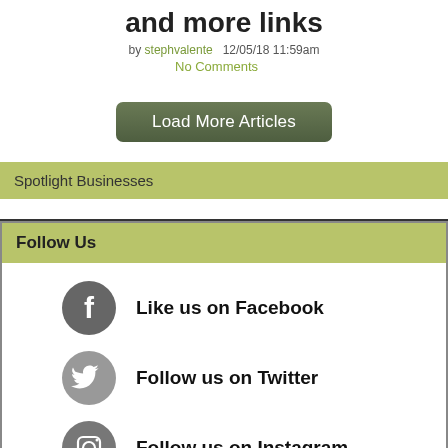and more links
by stephvalente   12/05/18 11:59am
No Comments
Load More Articles
Spotlight Businesses
Follow Us
Like us on Facebook
Follow us on Twitter
Follow us on Instagram